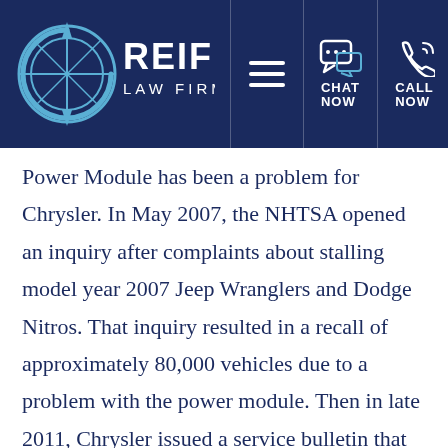[Figure (logo): Reiff Law Firm logo with compass rose graphic in white/light blue on dark navy background, followed by hamburger menu icon, chat now icon, and call now icon in the navigation bar]
Power Module has been a problem for Chrysler. In May 2007, the NHTSA opened an inquiry after complaints about stalling model year 2007 Jeep Wranglers and Dodge Nitros. That inquiry resulted in a recall of approximately 80,000 vehicles due to a problem with the power module. Then in late 2011, Chrysler issued a service bulletin that advised dealers of potential complaints regarding the car alarm sounding for no apparent cause and vehicles that would not start. Furthermore, prior to 2012 federal...